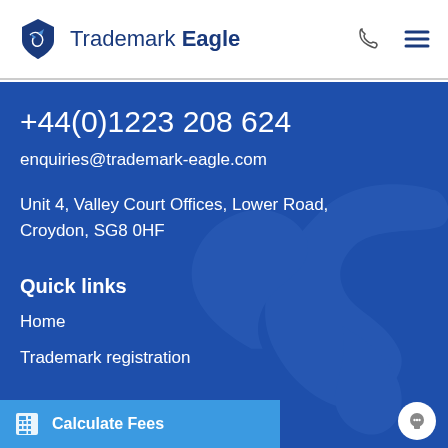[Figure (logo): Trademark Eagle logo with shield and eagle icon on white header bar, with phone and hamburger menu icons]
+44(0)1223 208 624
enquiries@trademark-eagle.com
Unit 4, Valley Court Offices, Lower Road, Croydon, SG8 0HF
Quick links
Home
Trademark registration
Calculate Fees